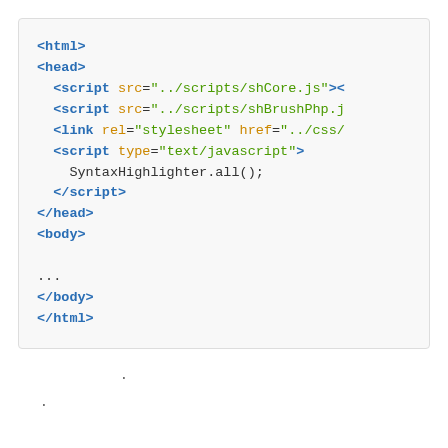[Figure (screenshot): Syntax-highlighted HTML code block showing HTML page structure with script and link tags, displayed in a light gray rounded box. Tags are blue/bold, attribute names are orange, attribute values are green.]
.
.